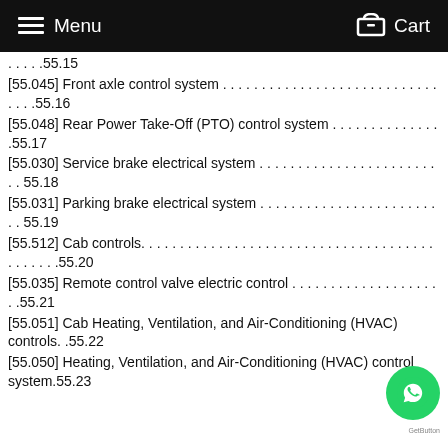Menu  Cart
. . . . . 55.15
[55.045] Front axle control system . . . . . . . . . . . . . . . . . . . . . . . . . . . . .55.16
[55.048] Rear Power Take-Off (PTO) control system . . . . . . . . . . . .55.17
[55.030] Service brake electrical system . . . . . . . . . . . . . . . . . . . . . . 55.18
[55.031] Parking brake electrical system . . . . . . . . . . . . . . . . . . . . .  55.19
[55.512] Cab controls. . . . . . . . . . . . . . . . . . . . . . . . . . . . . . . . . . . . . . . .55.20
[55.035] Remote control valve electric control . . . . . . . . . . . . . . . . .55.21
[55.051] Cab Heating, Ventilation, and Air-Conditioning (HVAC) controls. .55.22
[55.050] Heating, Ventilation, and Air-Conditioning (HVAC) control system.55.23